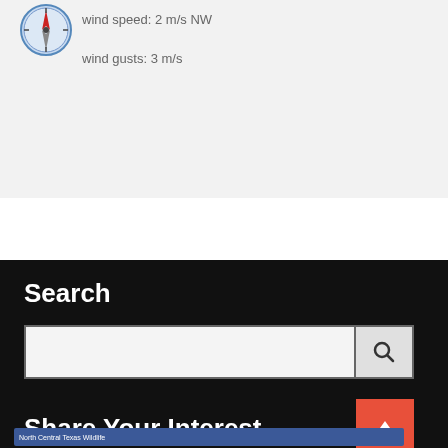[Figure (illustration): Wind compass icon (blue/red directional compass), with wind speed and gust information to the right]
wind speed: 2 m/s NW
wind gusts: 3 m/s
Search
[Figure (screenshot): Search input box with a search button containing a magnifying glass icon]
Share Your Interest
[Figure (screenshot): Facebook page strip for North Central Texas Wildlife at the bottom]